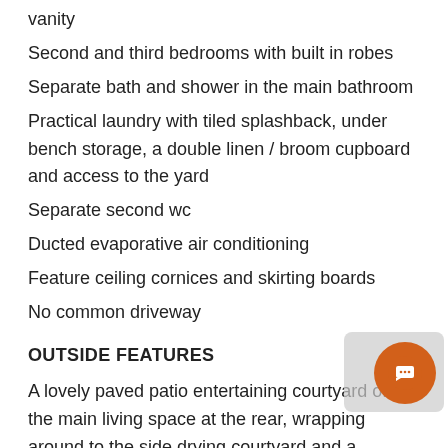vanity
Second and third bedrooms with built in robes
Separate bath and shower in the main bathroom
Practical laundry with tiled splashback, under bench storage, a double linen / broom cupboard and access to the yard
Separate second wc
Ducted evaporative air conditioning
Feature ceiling cornices and skirting boards
No common driveway
OUTSIDE FEATURES
A lovely paved patio entertaining courtyard off the main living space at the rear, wrapping around to the side drying courtyard and a generous side yard that is perfect for kids and pets to run around in
Wraparound entry verandah